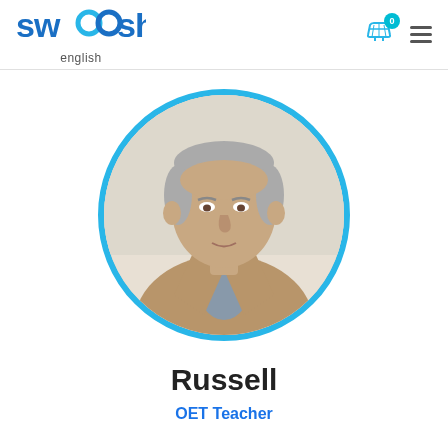swoosh english — header with cart (0) and menu
[Figure (photo): Circular portrait photo of Russell, a middle-aged man with grey hair wearing a tan blazer and grey shirt, against a light background. Framed in a cyan/blue circular border.]
Russell
OET Teacher